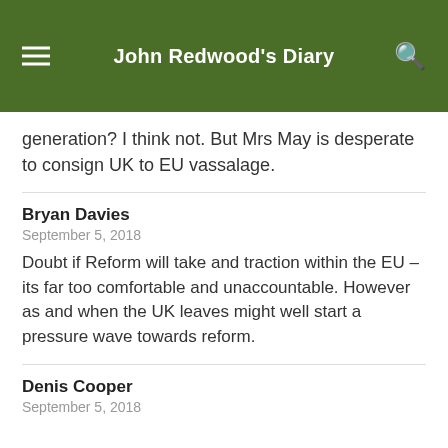John Redwood's Diary
generation? I think not. But Mrs May is desperate to consign UK to EU vassalage.
Bryan Davies
September 5, 2018
Doubt if Reform will take and traction within the EU – its far too comfortable and unaccountable. However as and when the UK leaves might well start a pressure wave towards reform.
Denis Cooper
September 5, 2018